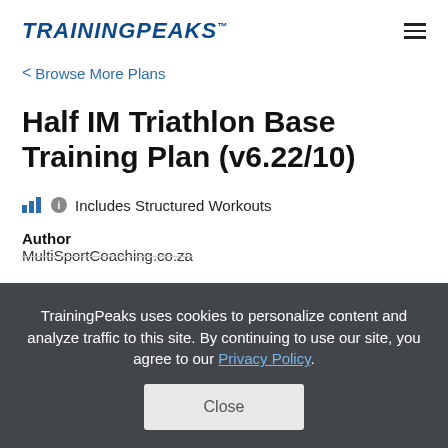TRAININGPEAKS
< Browse More Plans
Half IM Triathlon Base Training Plan (v6.22/10)
Includes Structured Workouts
Author
MultiSportCoaching.co.za
TrainingPeaks uses cookies to personalize content and analyze traffic to this site. By continuing to use our site, you agree to our Privacy Policy.
Close